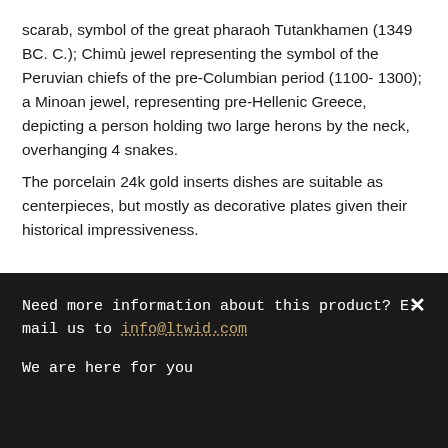scarab, symbol of the great pharaoh Tutankhamen (1349 BC. C.); Chimù jewel representing the symbol of the Peruvian chiefs of the pre-Columbian period (1100-1300); a Minoan jewel, representing pre-Hellenic Greece, depicting a person holding two large herons by the neck, overhanging 4 snakes.
The porcelain 24k gold inserts dishes are suitable as centerpieces, but mostly as decorative plates given their historical impressiveness.
Dimensions:
Need more information about this product? E-mail us to info@ltwid.com

We are here for you